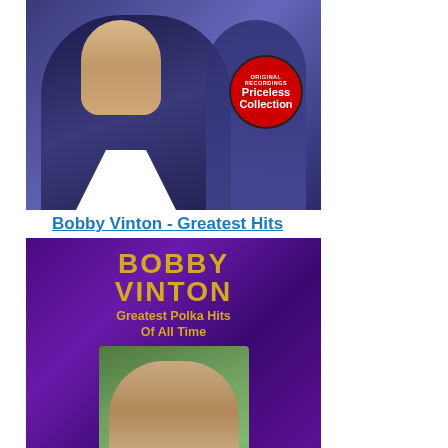[Figure (photo): Album cover for Bobby Vinton Greatest Hits with man in tuxedo and Priceless Collection badge]
Bobby Vinton - Greatest Hits
[Figure (photo): Album cover for Bobby Vinton Greatest Polka Hits of All Time with purple background and track listing]
Bobby Vinton - Greatest Polka Hits of All Tim
[Figure (photo): Partial view of another album with Collector's badge visible]